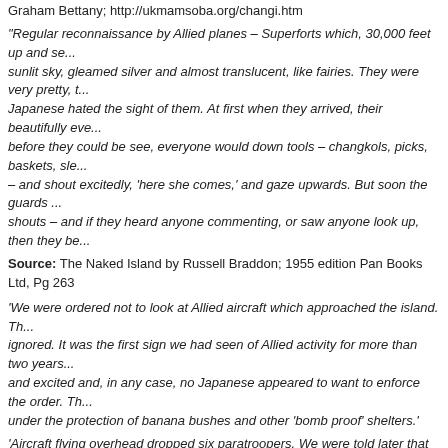Graham Bettany; http://ukmamsoba.org/changi.htm
“Regular reconnaissance by Allied planes – Superforts which, 30,000 feet up and se... sunlit sky, gleamed silver and almost translucent, like fairies. They were very pretty, t... Japanese hated the sight of them. At first when they arrived, their beautifully eve... before they could be see, everyone would down tools – changkols, picks, baskets, sle... – and shout excitedly, ‘here she comes,’ and gaze upwards. But soon the guards ... shouts – and if they heard anyone commenting, or saw anyone look up, then they be...
Source: The Naked Island by Russell Braddon; 1955 edition Pan Books Ltd, Pg 263
‘We were ordered not to look at Allied aircraft which approached the island. Th... ignored. It was the first sign we had seen of Allied activity for more than two years... and excited and, in any case, no Japanese appeared to want to enforce the order. Th... under the protection of banana bushes and other ‘bomb proof’ shelters.’
‘Aircraft flying overhead dropped six paratroopers. We were told later that these co... doctors, two paratroopers, lieutenants, and two paratroopers, privates. They were a... on the aerodrome at Changi which we had built. General Saito in a staff car flying the... generals flew on their cars, drove up to the first paratrooper who was getting out of ... paratrooper walked over to the car, the General saw that he was only a private and... on. The paratrooper opened the car door, told the driver to get out, then the gen... drove around to pick up his five companions.’
Source: You'll Never Get Off The Island by Keith Wilson; 1989, Pg85, 121